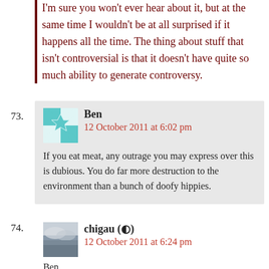I'm sure you won't ever hear about it, but at the same time I wouldn't be at all surprised if it happens all the time. The thing about stuff that isn't controversial is that it doesn't have quite so much ability to generate controversy.
73. Ben — 12 October 2011 at 6:02 pm — If you eat meat, any outrage you may express over this is dubious. You do far more destruction to the environment than a bunch of doofy hippies.
74. chigau (◐) — 12 October 2011 at 6:24 pm — Ben